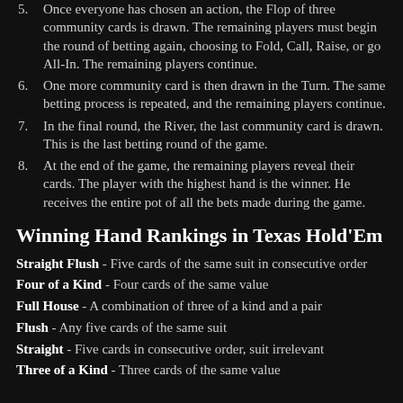5. Once everyone has chosen an action, the Flop of three community cards is drawn. The remaining players must begin the round of betting again, choosing to Fold, Call, Raise, or go All-In. The remaining players continue.
6. One more community card is then drawn in the Turn. The same betting process is repeated, and the remaining players continue.
7. In the final round, the River, the last community card is drawn. This is the last betting round of the game.
8. At the end of the game, the remaining players reveal their cards. The player with the highest hand is the winner. He receives the entire pot of all the bets made during the game.
Winning Hand Rankings in Texas Hold'Em
Straight Flush - Five cards of the same suit in consecutive order
Four of a Kind - Four cards of the same value
Full House - A combination of three of a kind and a pair
Flush - Any five cards of the same suit
Straight - Five cards in consecutive order, suit irrelevant
Three of a Kind - Three cards of the same value